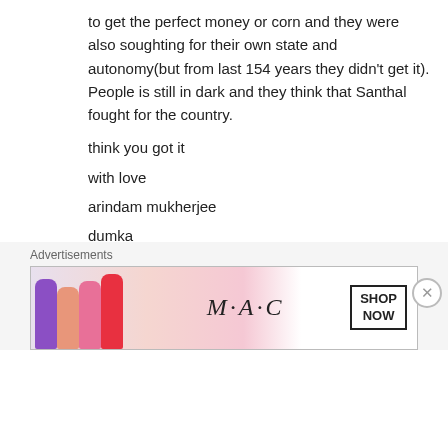to get the perfect money or corn and they were also soughting for their own state and autonomy(but from last 154 years they didn't get it). People is still in dark and they think that Santhal fought for the country.
think you got it
with love
arindam mukherjee
dumka
jharkhand
★ Like
↵ Reply
Advertisements
[Figure (photo): MAC cosmetics advertisement showing lipsticks and SHOP NOW button]